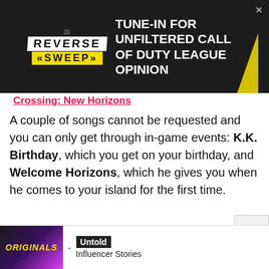[Figure (screenshot): Advertisement banner for 'Reverse Sweep' podcast/show: dark background with logo and text 'TUNE-IN FOR UNFILTERED CALL OF DUTY LEAGUE OPINION' with yellow decorative slash]
Crossing: New Horizons
A couple of songs cannot be requested and you can only get through in-game events: K.K. Birthday, which you get on your birthday, and Welcome Horizons, which he gives you when he comes to your island for the first time.
Subscribe to our newsletter for the latest updates on Esports, Gaming and more.
[Figure (screenshot): Bottom advertisement strip for 'Untold Influencer Stories' with Originals branding]